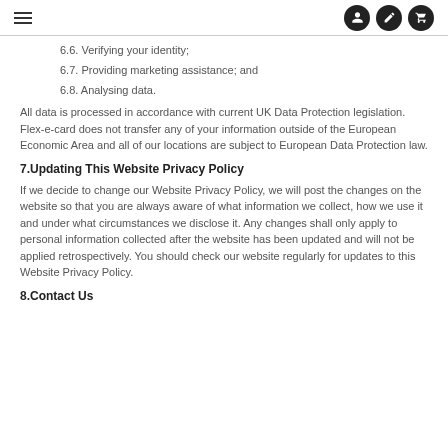Navigation header with hamburger menu and icons
6.6. Verifying your identity;
6.7. Providing marketing assistance; and
6.8. Analysing data.
All data is processed in accordance with current UK Data Protection legislation. Flex-e-card does not transfer any of your information outside of the European Economic Area and all of our locations are subject to European Data Protection law.
7.Updating This Website Privacy Policy
If we decide to change our Website Privacy Policy, we will post the changes on the website so that you are always aware of what information we collect, how we use it and under what circumstances we disclose it. Any changes shall only apply to personal information collected after the website has been updated and will not be applied retrospectively. You should check our website regularly for updates to this Website Privacy Policy.
8.Contact Us